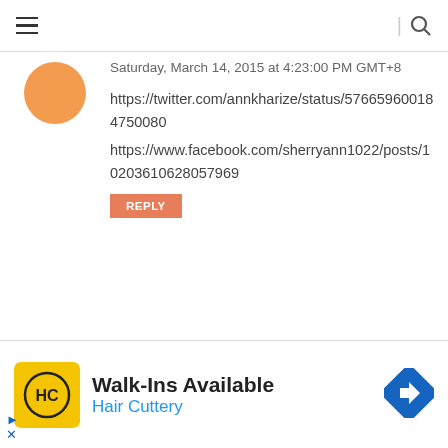[Figure (screenshot): Navigation bar with hamburger menu icon on left and search icon on right]
Saturday, March 14, 2015 at 4:23:00 PM GMT+8
https://twitter.com/annkharize/status/576659600184750080
https://www.facebook.com/sherryann1022/posts/10203610628057969
REPLY
Unknown
Saturday, March 14, 2015 at 4:59:00 PM GMT+8
[Figure (screenshot): Ad banner: Walk-Ins Available - Hair Cuttery with HC logo]
Walk-Ins Available
Hair Cuttery